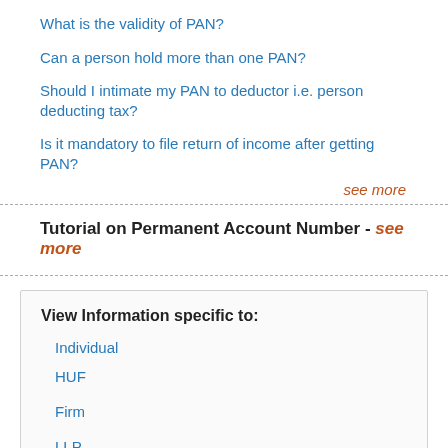What is the validity of PAN?
Can a person hold more than one PAN?
Should I intimate my PAN to deductor i.e. person deducting tax?
Is it mandatory to file return of income after getting PAN?
see more
Tutorial on Permanent Account Number - see more
View Information specific to:
Individual
HUF
Firm
LLP
AOP/BOI